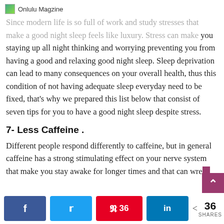Onlulu Magzine
Since modern life is so full of work and study stresses that make a good night sleep feels like luxury. Stress can make you staying up all night thinking and worrying preventing you from having a good and relaxing good night sleep. Sleep deprivation can lead to many consequences on your overall health, thus this condition of not having adequate sleep everyday need to be fixed, that's why we prepared this list below that consist of seven tips for you to have a good night sleep despite stress.
7- Less Caffeine .
Different people respond differently to caffeine, but in general caffeine has a strong stimulating effect on your nerve system that make you stay awake for longer times and that can wreck…
36 SHARES — Facebook, Twitter, Pinterest (36), LinkedIn, Share